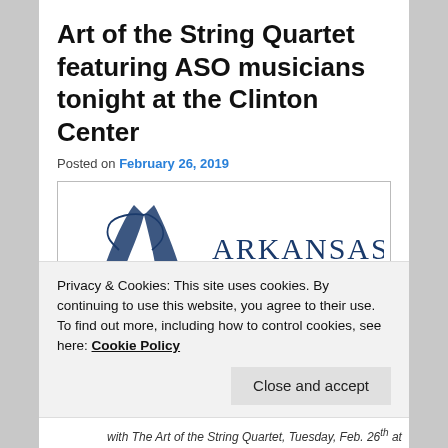Art of the String Quartet featuring ASO musicians tonight at the Clinton Center
Posted on February 26, 2019
[Figure (logo): Arkansas Symphony Orchestra logo with stylized 'A' mark and text reading 'Arkansas Symphony']
Privacy & Cookies: This site uses cookies. By continuing to use this website, you agree to their use.
To find out more, including how to control cookies, see here: Cookie Policy
with The Art of the String Quartet, Tuesday, Feb. 26th at